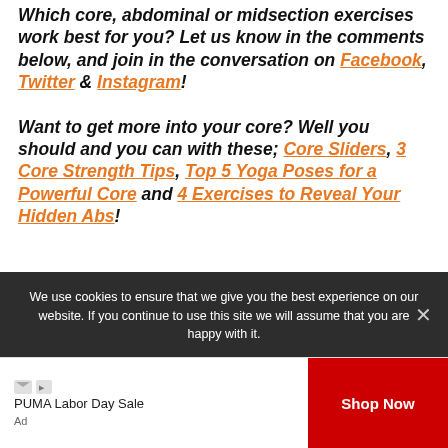Which core, abdominal or midsection exercises work best for you? Let us know in the comments below, and join in the conversation on Facebook, Twitter & Instagram!
Want to get more into your core? Well you should and you can with these; Core Sliders, 3 Core Strength Tips, Top 5 Yoga Poses for a Powerful Core and 4 Exercises to Reveal Your Hidden Abs!
We use cookies to ensure that we give you the best experience on our website. If you continue to use this site we will assume that you are happy with it.
PUMA Labor Day Sale
Ad